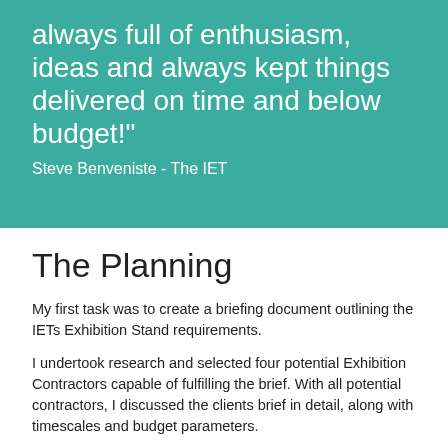always full of enthusiasm, ideas and always kept things delivered on time and below budget!"
Steve Benveniste - The IET
The Planning
My first task was to create a briefing document outlining the IETs Exhibition Stand requirements.
I undertook research and selected four potential Exhibition Contractors capable of fulfilling the brief. With all potential contractors, I discussed the clients brief in detail, along with timescales and budget parameters.